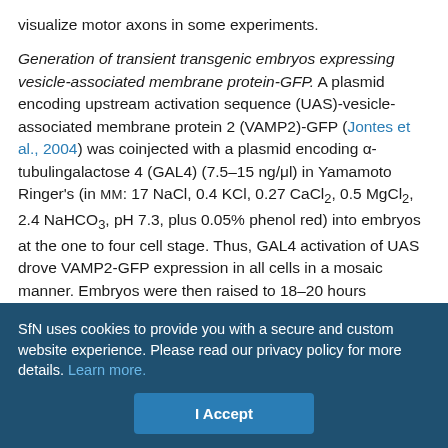visualize motor axons in some experiments.
Generation of transient transgenic embryos expressing vesicle-associated membrane protein-GFP. A plasmid encoding upstream activation sequence (UAS)-vesicle-associated membrane protein 2 (VAMP2)-GFP (Jontes et al., 2004) was coinjected with a plasmid encoding α-tubulingalactose 4 (GAL4) (7.5–15 ng/μl) in Yamamoto Ringer's (in mM: 17 NaCl, 0.4 KCl, 0.27 CaCl2, 0.5 MgCl2, 2.4 NaHCO3, pH 7.3, plus 0.05% phenol red) into embryos at the one to four cell stage. Thus, GAL4 activation of UAS drove VAMP2-GFP expression in all cells in a mosaic manner. Embryos were then raised to 18–20 hours postfertilization (hpf) at 28.5°C in E3 medium (in mM: 5 NaCl, 0.17 KCl, 0.33 CaCl2, 0.33 MgSO4) and evaluated for GFP
SfN uses cookies to provide you with a secure and custom website experience. Please read our privacy policy for more details. Learn more.